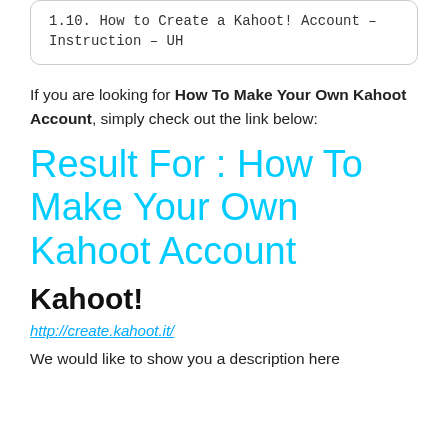1.10. How to Create a Kahoot! Account – Instruction – UH
If you are looking for How To Make Your Own Kahoot Account, simply check out the link below:
Result For : How To Make Your Own Kahoot Account
Kahoot!
http://create.kahoot.it/
We would like to show you a description here